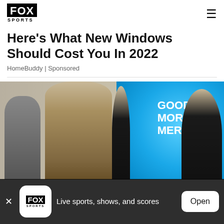FOX SPORTS
Here's What New Windows Should Cost You In 2022
HomeBuddy | Sponsored
[Figure (photo): TV screenshot showing women on Good Morning America set, with GMA logo visible on blue background]
Live sports, shows, and scores
Open